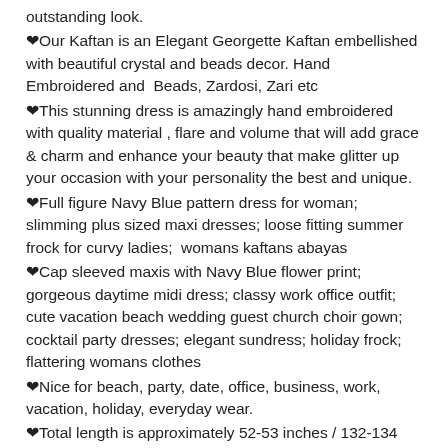outstanding look.
❤Our Kaftan is an Elegant Georgette Kaftan embellished with beautiful crystal and beads decor. Hand Embroidered and Beads, Zardosi, Zari etc
❤This stunning dress is amazingly hand embroidered with quality material , flare and volume that will add grace & charm and enhance your beauty that make glitter up your occasion with your personality the best and unique.
❤Full figure Navy Blue pattern dress for woman; slimming plus sized maxi dresses; loose fitting summer frock for curvy ladies; womans kaftans abayas
❤Cap sleeved maxis with Navy Blue flower print; gorgeous daytime midi dress; classy work office outfit; cute vacation beach wedding guest church choir gown; cocktail party dresses; elegant sundress; holiday frock; flattering womans clothes
❤Nice for beach, party, date, office, business, work, vacation, holiday, everyday wear.
❤Total length is approximately 52-53 inches / 132-134 centimeters.